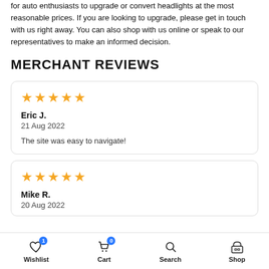for auto enthusiasts to upgrade or convert headlights at the most reasonable prices. If you are looking to upgrade, please get in touch with us right away. You can also shop with us online or speak to our representatives to make an informed decision.
MERCHANT REVIEWS
Eric J.
21 Aug 2022

The site was easy to navigate!
Mike R.
20 Aug 2022
Wishlist  Cart  Search  Shop